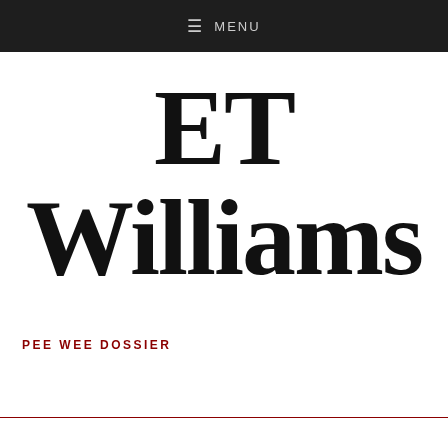≡ MENU
ET Williams
PEE WEE DOSSIER